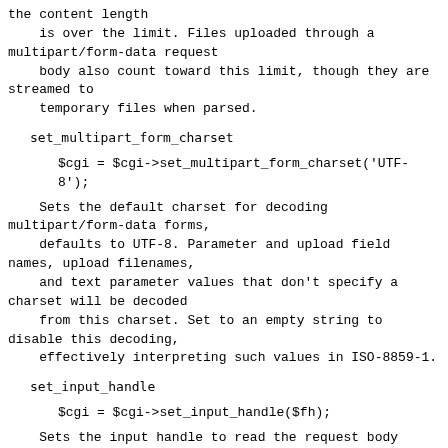the content length
    is over the limit. Files uploaded through a multipart/form-data request
    body also count toward this limit, though they are streamed to
    temporary files when parsed.
set_multipart_form_charset
$cgi = $cgi->set_multipart_form_charset('UTF-8');
Sets the default charset for decoding multipart/form-data forms,
    defaults to UTF-8. Parameter and upload field names, upload filenames,
    and text parameter values that don't specify a charset will be decoded
    from this charset. Set to an empty string to disable this decoding,
    effectively interpreting such values in ISO-8859-1.
set_input_handle
$cgi = $cgi->set_input_handle($fh);
Sets the input handle to read the request body from. If not set, reads
    from STDIN. The handle will have binmode applied before reading to
    remove any translation layers.